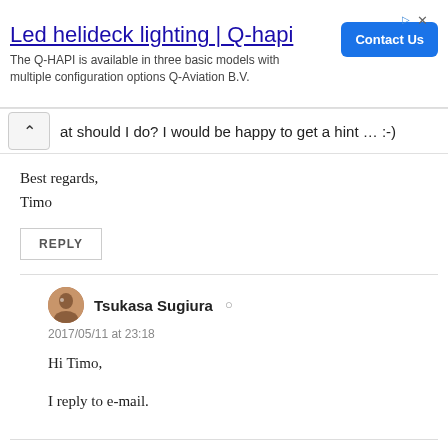[Figure (other): Advertisement banner for 'Led helideck lighting | Q-hapi' with Contact Us button. Text: The Q-HAPI is available in three basic models with multiple configuration options Q-Aviation B.V.]
at should I do? I would be happy to get a hint … :-)
Best regards,
Timo
REPLY
Tsukasa Sugiura
2017/05/11 at 23:18
Hi Timo,
I reply to e-mail.